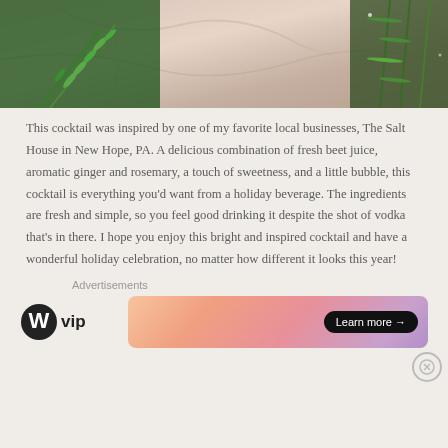[Figure (photo): Top portion of a food/drink photo showing rosemary herb sprigs on a marble surface with green elements]
This cocktail was inspired by one of my favorite local businesses, The Salt House in New Hope, PA. A delicious combination of fresh beet juice, aromatic ginger and rosemary, a touch of sweetness, and a little bubble, this cocktail is everything you'd want from a holiday beverage. The ingredients are fresh and simple, so you feel good drinking it despite the shot of vodka that's in there. I hope you enjoy this bright and inspired cocktail and have a wonderful holiday celebration, no matter how different it looks this year!
Advertisements
[Figure (logo): WordPress VIP logo - WordPress circle logo followed by 'vip' text]
[Figure (other): Advertisement banner with gradient background (peach/pink/purple) and a 'Learn more →' button]